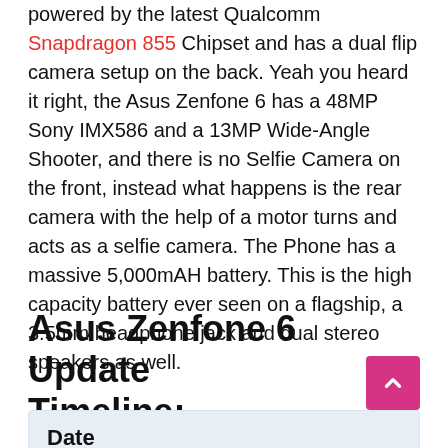powered by the latest Qualcomm Snapdragon 855 Chipset and has a dual flip camera setup on the back. Yeah you heard it right, the Asus Zenfone 6 has a 48MP Sony IMX586 and a 13MP Wide-Angle Shooter, and there is no Selfie Camera on the front, instead what happens is the rear camera with the help of a motor turns and acts as a selfie camera. The Phone has a massive 5,000mAH battery. This is the high capacity battery ever seen on a flagship, a 3.5mm headphone jack and dual stereo speakers as well.
Asus Zenfone 6 Update Timeline:
| Date |
| --- |